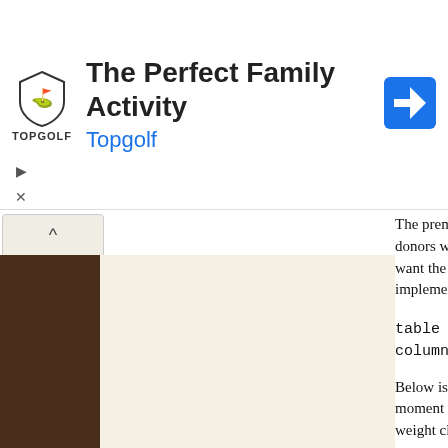[Figure (screenshot): Topgolf advertisement banner with logo, 'The Perfect Family Activity' headline, 'Topgolf' link in blue, and a navigation/directions icon on the right. Play and close controls visible on left side.]
The premis donors who want the to implement
table = Figh columns = l
Below is th moment I a weight clas next row", u
[code]
$query="SE FROM Figh INNER JOI